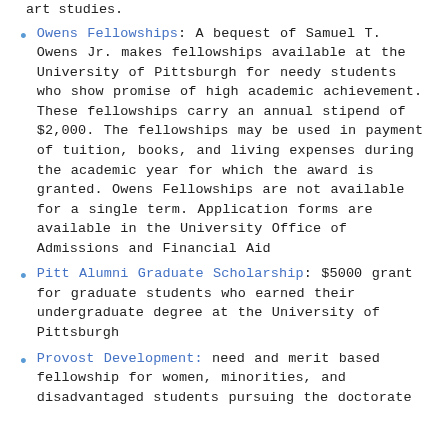Owens Fellowships: A bequest of Samuel T. Owens Jr. makes fellowships available at the University of Pittsburgh for needy students who show promise of high academic achievement. These fellowships carry an annual stipend of $2,000. The fellowships may be used in payment of tuition, books, and living expenses during the academic year for which the award is granted. Owens Fellowships are not available for a single term. Application forms are available in the University Office of Admissions and Financial Aid
Pitt Alumni Graduate Scholarship: $5000 grant for graduate students who earned their undergraduate degree at the University of Pittsburgh
Provost Development: need and merit based fellowship for women, minorities, and disadvantaged students pursuing the doctorate